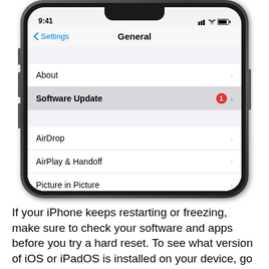[Figure (screenshot): iPhone X screenshot showing Settings > General screen with menu items: About, Software Update (with red badge showing 1), AirDrop, AirPlay & Handoff, Picture in Picture, CarPlay]
If your iPhone keeps restarting or freezing, make sure to check your software and apps before you try a hard reset. To see what version of iOS or iPadOS is installed on your device, go to the